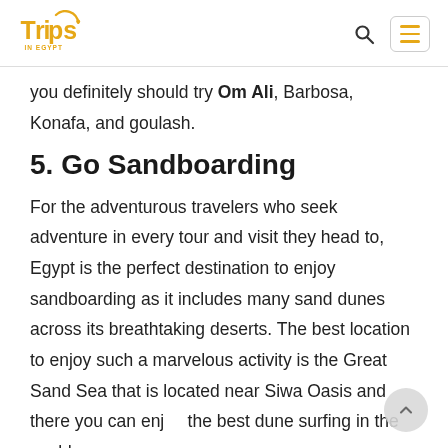Trips in Egypt
you definitely should try Om Ali, Barbosa, Konafa, and goulash.
5. Go Sandboarding
For the adventurous travelers who seek adventure in every tour and visit they head to, Egypt is the perfect destination to enjoy sandboarding as it includes many sand dunes across its breathtaking deserts. The best location to enjoy such a marvelous activity is the Great Sand Sea that is located near Siwa Oasis and there you can enjoy the best dune surfing in the world.